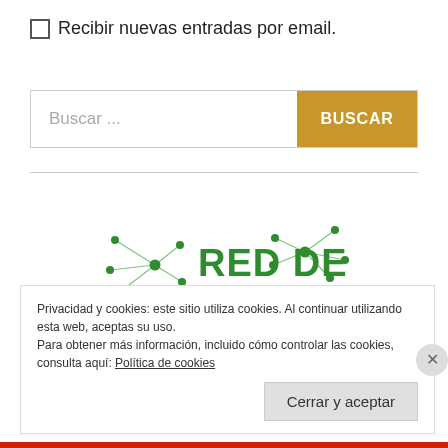Recibir nuevas entradas por email.
[Figure (screenshot): Search bar with text 'Buscar ...' placeholder and a gold 'BUSCAR' button]
[Figure (logo): Red de Antropología logo with green network graph nodes and green bold text RED DE and grey text ANTROPOLOGÍA]
Privacidad y cookies: este sitio utiliza cookies. Al continuar utilizando esta web, aceptas su uso.
Para obtener más información, incluido cómo controlar las cookies, consulta aquí: Política de cookies
Cerrar y aceptar